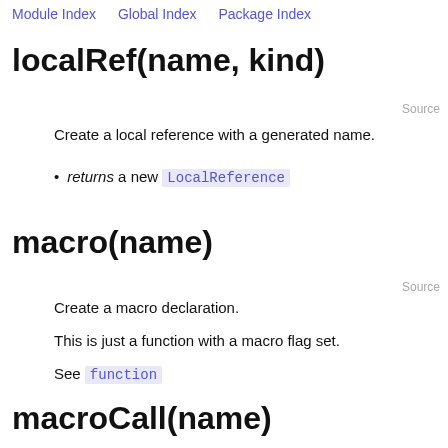Module Index    Global Index    Package Index
localRef(name, kind)
Source
Create a local reference with a generated name.
returns a new LocalReference
macro(name)
Source
Create a macro declaration.
This is just a function with a macro flag set.
See function
macroCall(name)